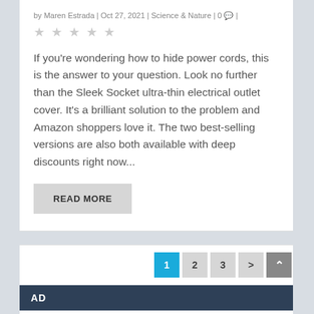by Maren Estrada | Oct 27, 2021 | Science & Nature | 0 💬 |
★★★★★ (empty stars)
If you're wondering how to hide power cords, this is the answer to your question. Look no further than the Sleek Socket ultra-thin electrical outlet cover. It's a brilliant solution to the problem and Amazon shoppers love it. The two best-selling versions are also both available with deep discounts right now...
READ MORE
1 2 3 >
AD